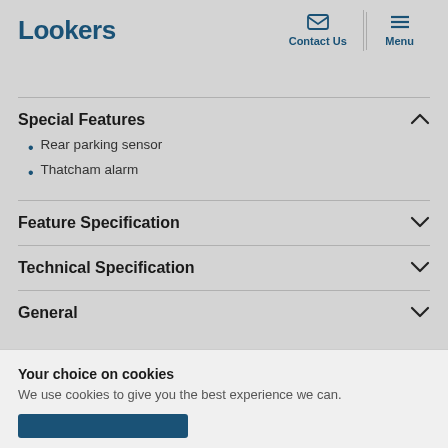Lookers | Contact Us | Menu
Special Features
Rear parking sensor
Thatcham alarm
Feature Specification
Technical Specification
General
Your choice on cookies
We use cookies to give you the best experience we can.